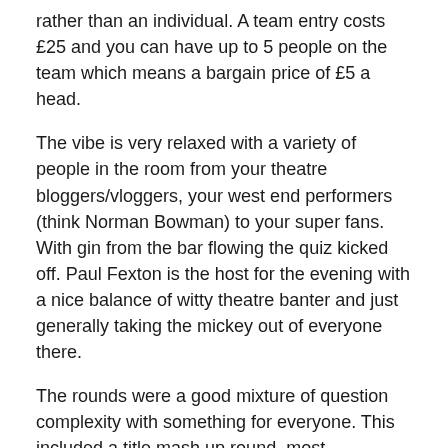rather than an individual. A team entry costs £25 and you can have up to 5 people on the team which means a bargain price of £5 a head.
The vibe is very relaxed with a variety of people in the room from your theatre bloggers/vloggers, your west end performers (think Norman Bowman) to your super fans. With gin from the bar flowing the quiz kicked off. Paul Fexton is the host for the evening with a nice balance of witty theatre banter and just generally taking the mickey out of everyone there.
The rounds were a good mixture of question complexity with something for everyone. This included a title mash up round, most successful shows on the West End and Broadway rounds and the well loved Singo Bingo (Think sing-a-long bingo where musical theatre songs are played and if you have that show you mark it off). The Singo Bing in particular was a huge success- you just